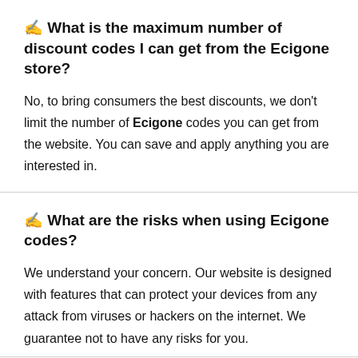✍ What is the maximum number of discount codes I can get from the Ecigone store?
No, to bring consumers the best discounts, we don't limit the number of Ecigone codes you can get from the website. You can save and apply anything you are interested in.
✍ What are the risks when using Ecigone codes?
We understand your concern. Our website is designed with features that can protect your devices from any attack from viruses or hackers on the internet. We guarantee not to have any risks for you.